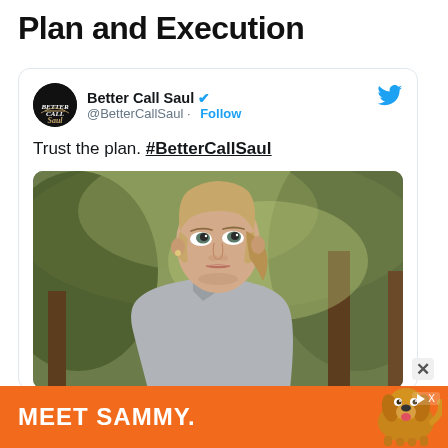Plan and Execution
[Figure (screenshot): Tweet from @BetterCallSaul (Better Call Saul) with verified badge and Follow button. Tweet text reads: 'Trust the plan. #BetterCallSaul'. Below is an image of a blonde woman in a grey shirt looking upward outdoors with trees in the background. A Twitter bird icon appears top-right of the card.]
[Figure (photo): Advertisement banner at the bottom: orange background with text 'MEET SAMMY.' and an image of a golden retriever dog. A play button and 'X' badge appear at top right of the ad.]